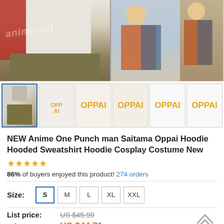[Figure (photo): Main product images showing a person wearing a white/red raglan sweatshirt (left), and anime characters from One Punch Man (right)]
[Figure (photo): Six thumbnail images of the OPPAI hoodie/sweatshirt from different angles and views]
NEW Anime One Punch man Saitama Oppai Hoodie Hooded Sweatshirt Hoodie Cosplay Costume New
86% of buyers enjoyed this product! 274 orders
Size: S M L XL XXL
List price: US $45.99
Price: US $44.71